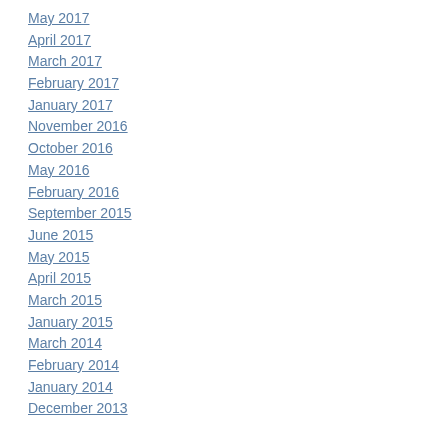May 2017
April 2017
March 2017
February 2017
January 2017
November 2016
October 2016
May 2016
February 2016
September 2015
June 2015
May 2015
April 2015
March 2015
January 2015
March 2014
February 2014
January 2014
December 2013